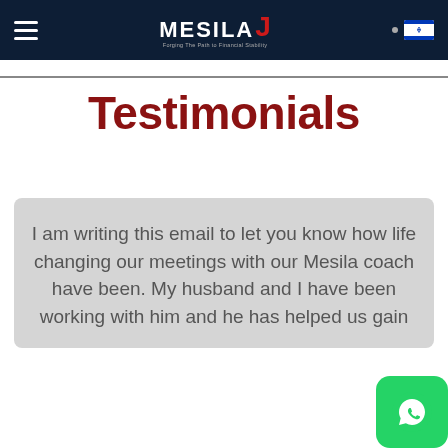MESILA — navigation bar with hamburger menu, Mesila logo, and Israeli flag
Testimonials
I am writing this email to let you know how life changing our meetings with our Mesila coach have been. My husband and I have been working with him and he has helped us gain